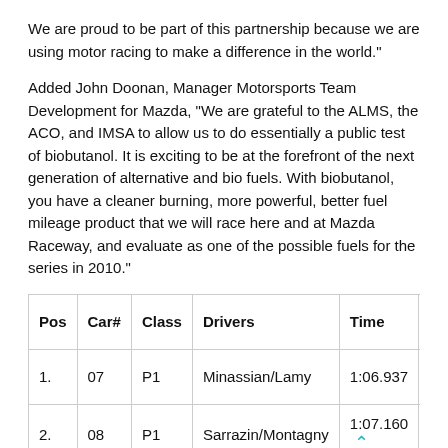We are proud to be part of this partnership because we are using motor racing to make a difference in the world."
Added John Doonan, Manager Motorsports Team Development for Mazda, "We are grateful to the ALMS, the ACO, and IMSA to allow us to do essentially a public test of biobutanol. It is exciting to be at the forefront of the next generation of alternative and bio fuels. With biobutanol, you have a cleaner burning, more powerful, better fuel mileage product that we will race here and at Mazda Raceway, and evaluate as one of the possible fuels for the series in 2010."
| Pos | Car# | Class | Drivers | Time | Car Make |
| --- | --- | --- | --- | --- | --- |
| 1. | 07 | P1 | Minassian/Lamy | 1:06.937 | Peug 908 |
| 2. | 08 | P1 | Sarrazin/Montagny | 1:07.160 | Peug 908 |
| 3. | 2 | P1 | Capello/McNish | 1:08.200 | Audi R15 |